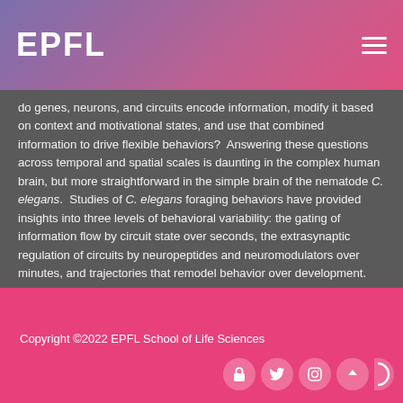EPFL
do genes, neurons, and circuits encode information, modify it based on context and motivational states, and use that combined information to drive flexible behaviors?  Answering these questions across temporal and spatial scales is daunting in the complex human brain, but more straightforward in the simple brain of the nematode C. elegans.  Studies of C. elegans foraging behaviors have provided insights into three levels of behavioral variability: the gating of information flow by circuit state over seconds, the extrasynaptic regulation of circuits by neuropeptides and neuromodulators over minutes, and trajectories that remodel behavior over development.
Copyright ©2022 EPFL School of Life Sciences